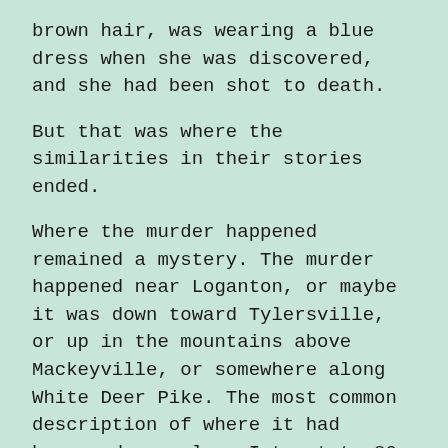brown hair, was wearing a blue dress when she was discovered, and she had been shot to death.
But that was where the similarities in their stories ended.
Where the murder happened remained a mystery. The murder happened near Loganton, or maybe it was down toward Tylersville, or up in the mountains above Mackeyville, or somewhere along White Deer Pike. The most common description of where it had happened was along Interstate 80 at the abandoned rest stop just west of Lamar, which – according to word of mouth – was the reason the rest stop was closed down.
Despite everyone “remembering” the murder happening, nobody seemed to remember when it had happened. Most people placed the murder as happening between 1940 and 1970, with the majority